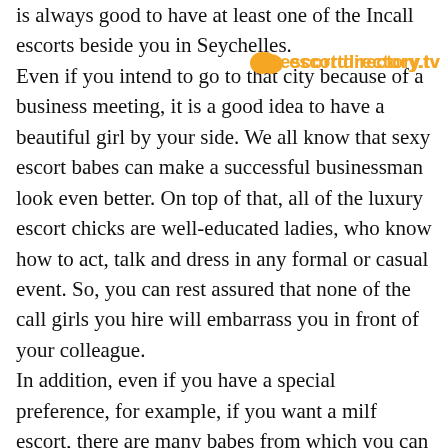is always good to have at least one of the Incall escorts beside you in Seychelles. Even if you intend to go to that city because of a business meeting, it is a good idea to have a beautiful girl by your side. We all know that sexy escort babes can make a successful businessman look even better. On top of that, all of the luxury escort chicks are well-educated ladies, who know how to act, talk and dress in any formal or casual event. So, you can rest assured that none of the call girls you hire will embarrass you in front of your colleague.
In addition, even if you have a special preference, for example, if you want a milf escort, there are many babes from which you can choose. There is even a list of escort websites together with the escort services they provide from which you can find your perfect match. These beauties will also give you amazing escort tours, and you can also
[Figure (logo): escortdirectory.tv watermark logo with orange circle icon and orange text]